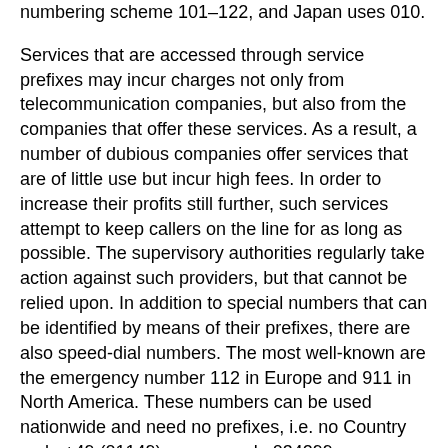numbering scheme 101–122, and Japan uses 010.
Services that are accessed through service prefixes may incur charges not only from telecommunication companies, but also from the companies that offer these services. As a result, a number of dubious companies offer services that are of little use but incur high fees. In order to increase their profits still further, such services attempt to keep callers on the line for as long as possible. The supervisory authorities regularly take action against such providers, but that cannot be relied upon. In addition to special numbers that can be identified by means of their prefixes, there are also speed-dial numbers. The most well-known are the emergency number 112 in Europe and 911 in North America. These numbers can be used nationwide and need no prefixes, i.e. no Country code +49 (01149) or area code 034299 (Gaschwitz).
As a general rule, the caller's telephone number is transmitted to the recipient of the call and shown on the display. Although it is possible to suppress your own telephone number, which makes